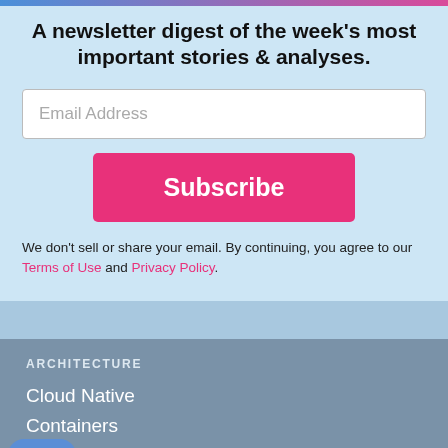A newsletter digest of the week's most important stories & analyses.
Email Address
Subscribe
We don't sell or share your email. By continuing, you agree to our Terms of Use and Privacy Policy.
ARCHITECTURE
Cloud Native
Containers
e/IoT
Microservices